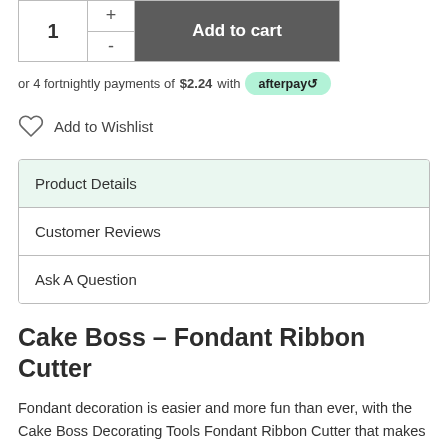1 + - Add to cart
or 4 fortnightly payments of $2.24 with afterpay
Add to Wishlist
Product Details
Customer Reviews
Ask A Question
Cake Boss – Fondant Ribbon Cutter
Fondant decoration is easier and more fun than ever, with the Cake Boss Decorating Tools Fondant Ribbon Cutter that makes multiple strips of decorative fondant, gum paste, pastry